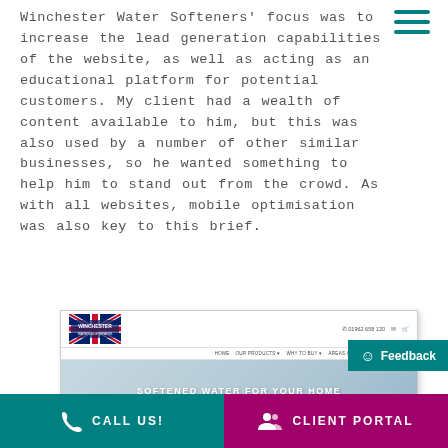Winchester Water Softeners' focus was to increase the lead generation capabilities of the website, as well as acting as an educational platform for potential customers. My client had a wealth of content available to him, but this was also used by a number of other similar businesses, so he wanted something to help him to stand out from the crowd. As with all websites, mobile optimisation was also key to this brief.
[Figure (screenshot): Screenshot of the Winchester Water Softeners website showing the header with logo, navigation bar (HOME, OUR PRODUCTS, WHY TO BUY, AREAS COVERED, CONTACT US), and hero section with text 'SOFTENED WATER FOR YOUR HOME'. A teal/green Feedback button is visible on the right side.]
CALL US! | CLIENT PORTAL